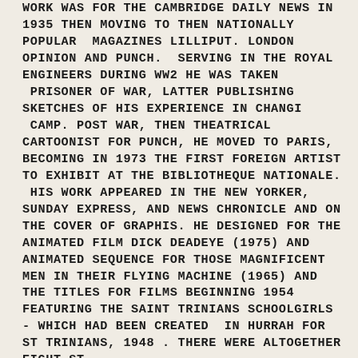WORK WAS FOR THE CAMBRIDGE DAILY NEWS IN 1935 THEN MOVING TO THEN NATIONALLY POPULAR MAGAZINES LILLIPUT. LONDON OPINION AND PUNCH. SERVING IN THE ROYAL ENGINEERS DURING WW2 HE WAS TAKEN PRISONER OF WAR, LATTER PUBLISHING SKETCHES OF HIS EXPERIENCE IN CHANGI CAMP. POST WAR, THEN THEATRICAL CARTOONIST FOR PUNCH, HE MOVED TO PARIS, BECOMING IN 1973 THE FIRST FOREIGN ARTIST TO EXHIBIT AT THE BIBLIOTHEQUE NATIONALE. HIS WORK APPEARED IN THE NEW YORKER, SUNDAY EXPRESS, AND NEWS CHRONICLE AND ON THE COVER OF GRAPHIS. HE DESIGNED FOR THE ANIMATED FILM DICK DEADEYE (1975) AND ANIMATED SEQUENCE FOR THOSE MAGNIFICENT MEN IN THEIR FLYING MACHINE (1965) AND THE TITLES FOR FILMS BEGINNING 1954 FEATURING THE SAINT TRINIANS SCHOOLGIRLS - WHICH HAD BEEN CREATED IN HURRAH FOR ST TRINIANS, 1948 . THERE WERE ALTOGETHER EIGHT ST